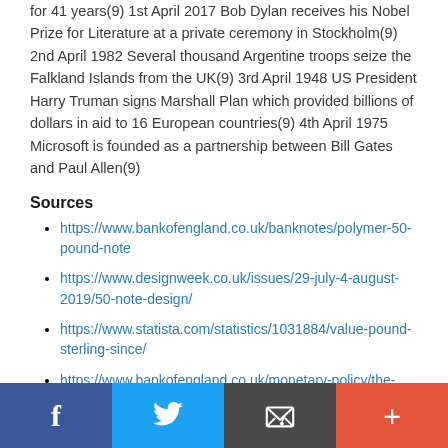for 41 years(9) 1st April 2017 Bob Dylan receives his Nobel Prize for Literature at a private ceremony in Stockholm(9) 2nd April 1982 Several thousand Argentine troops seize the Falkland Islands from the UK(9) 3rd April 1948 US President Harry Truman signs Marshall Plan which provided billions of dollars in aid to 16 European countries(9) 4th April 1975 Microsoft is founded as a partnership between Bill Gates and Paul Allen(9)
Sources
https://www.bankofengland.co.uk/banknotes/polymer-50-pound-note
https://www.designweek.co.uk/issues/29-july-4-august-2019/50-note-design/
https://www.statista.com/statistics/1031884/value-pound-sterling-since/
https://www.bankofengland.co.uk/monetary-policy/the-interest-rate-bank-rate
https://www.bbc.co.uk/news/business-53748278
https://www.reuters.com/article/uk-health-coronavirus-